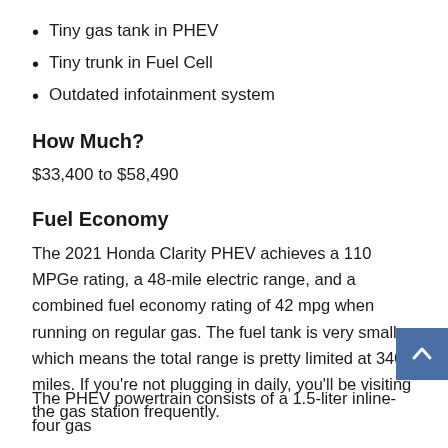Tiny gas tank in PHEV
Tiny trunk in Fuel Cell
Outdated infotainment system
How Much?
$33,400 to $58,490
Fuel Economy
The 2021 Honda Clarity PHEV achieves a 110 MPGe rating, a 48-mile electric range, and a combined fuel economy rating of 42 mpg when running on regular gas. The fuel tank is very small which means the total range is pretty limited at 340 miles. If you’re not plugging in daily, you’ll be visiting the gas station frequently.
The PHEV powertrain consists of a 1.5-liter inline-four gas